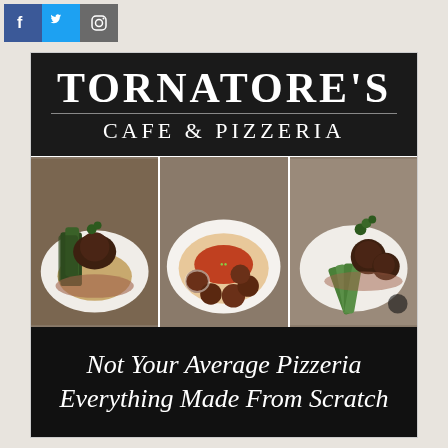[Figure (logo): Social media icons: Facebook (blue), Twitter (light blue), Instagram (grey)]
[Figure (logo): Tornatore's Cafe & Pizzeria logo — white text on dark background with decorative lines]
[Figure (photo): Three food dish photos side by side: left shows steak with greens on risotto and sauce, center shows pasta with meatballs and cheese, right shows filet medallions with asparagus and sauce]
Not Your Average Pizzeria Everything Made From Scratch